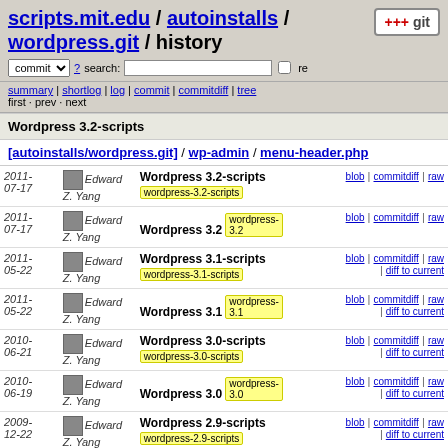scripts.mit.edu / autoinstalls / wordpress.git / history
commit search: re
summary | shortlog | log | commit | commitdiff | tree
first · prev · next
Wordpress 3.2-scripts
[autoinstalls/wordpress.git] / wp-admin / menu-header.php
| Date | Author | Commit message | Links |
| --- | --- | --- | --- |
| 2011-07-17 | Edward Z. Yang | Wordpress 3.2-scripts  wordpress-3.2-scripts | blob | commitdiff | raw |
| 2011-07-17 | Edward Z. Yang | Wordpress 3.2  wordpress-3.2 | blob | commitdiff | raw |
| 2011-05-22 | Edward Z. Yang | Wordpress 3.1-scripts  wordpress-3.1-scripts | blob | commitdiff | raw | diff to current |
| 2011-05-22 | Edward Z. Yang | Wordpress 3.1  wordpress-3.1 | blob | commitdiff | raw | diff to current |
| 2010-06-21 | Edward Z. Yang | Wordpress 3.0-scripts  wordpress-3.0-scripts | blob | commitdiff | raw | diff to current |
| 2010-06-19 | Edward Z. Yang | Wordpress 3.0  wordpress-3.0 | blob | commitdiff | raw | diff to current |
| 2009-12-22 | Edward Z. Yang | Wordpress 2.9-scripts  wordpress-2.9-scripts | blob | commitdiff | raw | diff to current |
| 2009- | Edward | Wordpress 2.9  wordpress- | blob | commitdiff | raw |